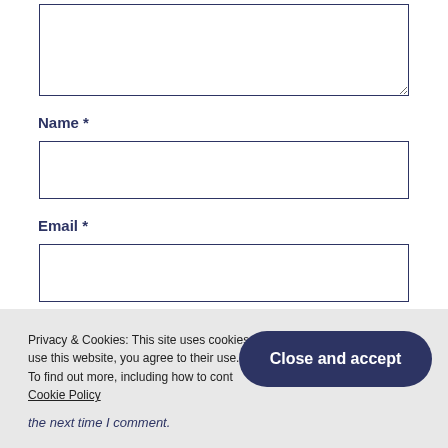[Figure (screenshot): Textarea input box (comment field) with resize handle at bottom right, dark navy border]
Name *
[Figure (screenshot): Text input box for Name field, dark navy border]
Email *
[Figure (screenshot): Text input box for Email field, dark navy border]
Website
Privacy & Cookies: This site uses cookies. By continuing to use this website, you agree to their use.
To find out more, including how to control cookies, see here:
Cookie Policy
Close and accept